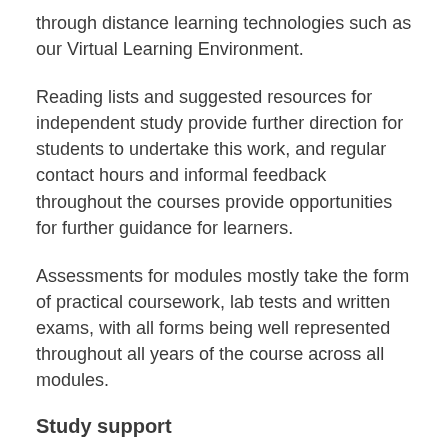through distance learning technologies such as our Virtual Learning Environment.
Reading lists and suggested resources for independent study provide further direction for students to undertake this work, and regular contact hours and informal feedback throughout the courses provide opportunities for further guidance for learners.
Assessments for modules mostly take the form of practical coursework, lab tests and written exams, with all forms being well represented throughout all years of the course across all modules.
Study support
We have a commitment to strong pastoral care for all of our students, which includes a Personal Tutor for all students, regular contact hours for tutor groups and our